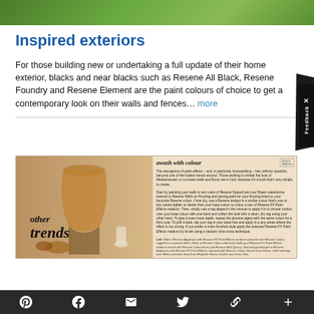[Figure (photo): Top cropped photograph showing green foliage/garden exterior]
Inspired exteriors
For those building new or undertaking a full update of their home exterior, blacks and near blacks such as Resene All Black, Resene Foundry and Resene Element are the paint colours of choice to get a contemporary look on their walls and fences… more
[Figure (photo): Magazine spread showing interior/exterior decorating trends with text 'other trends' overlaid and a decorating article 'awash with colour' on the right side]
Social media share bar with Pinterest, Facebook, Email, Twitter, Link, and Plus icons